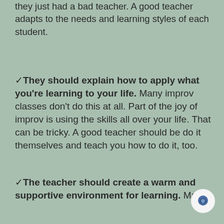they just had a bad teacher. A good teacher adapts to the needs and learning styles of each student.
✓ They should explain how to apply what you're learning to your life. Many improv classes don't do this at all. Part of the joy of improv is using the skills all over your life. That can be tricky. A good teacher should be do it themselves and teach you how to do it, too.
✓ The teacher should create a warm and supportive environment for learning. Many